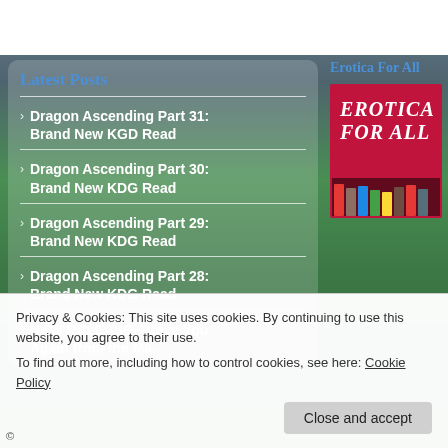Latest Posts
Dragon Ascending Part 31: Brand New KGD Read
Dragon Ascending Part 30: Brand New KDG Read
Dragon Ascending Part 29: Brand New KDG Read
Dragon Ascending Part 28: Brand New KDG Read
NEW RELEASE—Love You Again from the Main...
Erotica For All
[Figure (illustration): Erotica For All book cover image — red background with italic white text 'Erotica For All' and book spines at bottom]
Privacy & Cookies: This site uses cookies. By continuing to use this website, you agree to their use.
To find out more, including how to control cookies, see here: Cookie Policy
Close and accept